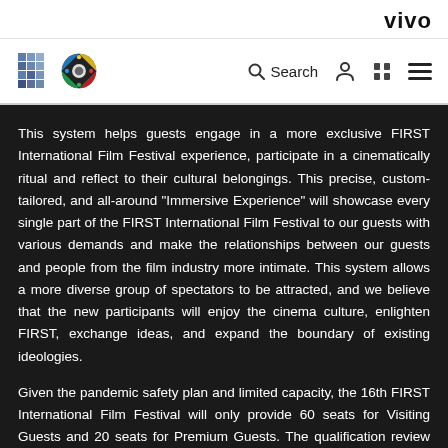vivo
[Figure (logo): FIRST International Film Festival logos — two square emblems (a building/grid pattern and a colorful circular pattern) in the navigation bar, alongside Search, user icon, grid icon, and hamburger menu]
This system helps guests engage in a more exclusive FIRST International Film Festival experience, participate in a cinematically ritual and reflect to their cultural belongings. This precise, custom-tailored, and all-around "Immersive Experience" will showcase every single part of the FIRST International Film Festival to our guests with various demands and make the relationships between our guests and people from the film industry more intimate. This system allows a more diverse group of spectators to be attracted, and we believe that the new participants will enjoy the cinema culture, enlighten FIRST, exchange ideas, and expand the boundary of existing ideologies.
Given the pandemic safety plan and limited capacity, the 16th FIRST International Film Festival will only provide 60 seats for Visiting Guests and 20 seats for Premium Guests. The qualification review will be proceeded based on the order of